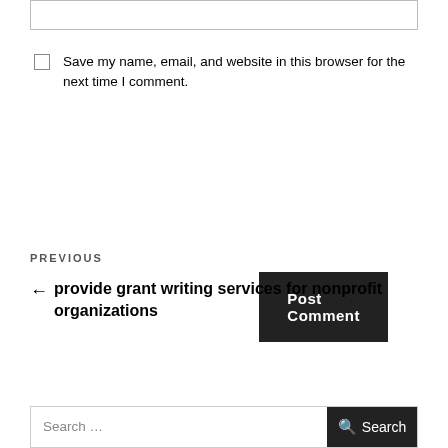[input box]
Save my name, email, and website in this browser for the next time I comment.
Post Comment
PREVIOUS
← provide grant writing services for nonprofit organizations
Search … Search